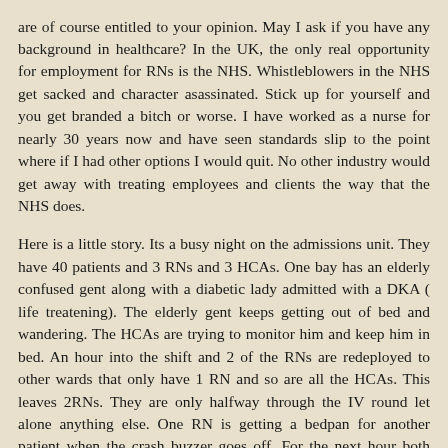are of course entitled to your opinion. May I ask if you have any background in healthcare? In the UK, the only real opportunity for employment for RNs is the NHS. Whistleblowers in the NHS get sacked and character asassinated. Stick up for yourself and you get branded a bitch or worse. I have worked as a nurse for nearly 30 years now and have seen standards slip to the point where if I had other options I would quit. No other industry would get away with treating employees and clients the way that the NHS does.
Here is a little story. Its a busy night on the admissions unit. They have 40 patients and 3 RNs and 3 HCAs. One bay has an elderly confused gent along with a diabetic lady admitted with a DKA ( life treatening). The elderly gent keeps getting out of bed and wandering. The HCAs are trying to monitor him and keep him in bed. An hour into the shift and 2 of the RNs are redeployed to other wards that only have 1 RN and so are all the HCAs. This leaves 2RNs. They are only halfway through the IV round let alone anything else. One RN is getting a bedpan for another patient when the crash buzzer goes off. For the next hour both RNs are tied up with the crashing patient. Meanwhile the elderly gent has fallen out of bed, the DKA lady has not